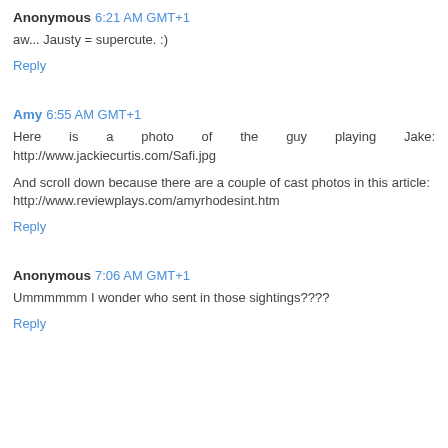Anonymous 6:21 AM GMT+1
aw... Jausty = supercute. :)
Reply
Amy 6:55 AM GMT+1
Here is a photo of the guy playing Jake: http://www.jackiecurtis.com/Safi.jpg
And scroll down because there are a couple of cast photos in this article: http://www.reviewplays.com/amyrhodesint.htm
Reply
Anonymous 7:06 AM GMT+1
Ummmmmm I wonder who sent in those sightings????
Reply